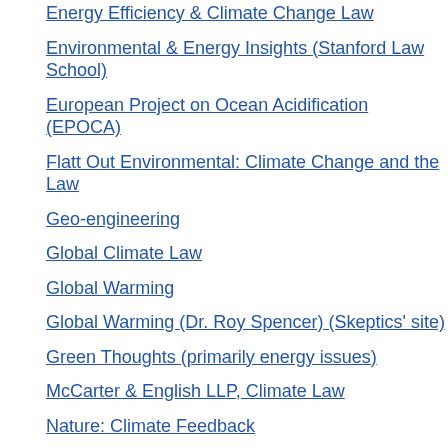Energy Efficiency & Climate Change Law
Environmental & Energy Insights (Stanford Law School)
European Project on Ocean Acidification (EPOCA)
Flatt Out Environmental: Climate Change and the Law
Geo-engineering
Global Climate Law
Global Warming
Global Warming (Dr. Roy Spencer) (Skeptics' site)
Green Thoughts (primarily energy issues)
McCarter & English LLP, Climate Law
Nature: Climate Feedback